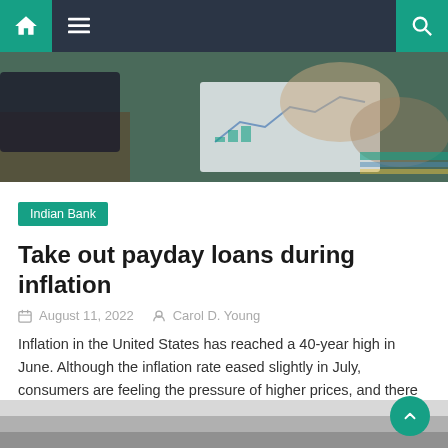Navigation bar with home, menu, and search icons
[Figure (photo): A person reviewing financial charts and documents at a desk with a laptop]
Indian Bank
Take out payday loans during inflation
August 11, 2022   Carol D. Young
Inflation in the United States has reached a 40-year high in June. Although the inflation rate eased slightly in July, consumers are feeling the pressure of higher prices, and there is no guarantee that the current inflation problem has peaked. Given the current economic conditions, many Americans are looking for loans and predatory lending is [...]
[Figure (photo): Partial bottom image, appears to be a grayscale photo]